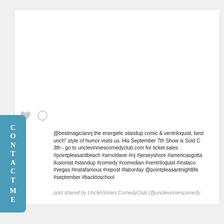[Figure (screenshot): Social media post screenshot (Instagram embed) showing a white image area with heart and comment bubble icons, followed by a caption text block and a 'shared by' attribution line. A teal vertical CONTACT ME tab is overlaid on the left side.]
@bestmagiciannj the energetic standup comic & ventriloquist, best punch" style of humor visits us. His September 7th Show is Sold C 3th - go to unclevinniescomedyclub.com for ticket sales . #pointpleasantbeach #arnoldave #nj #jerseyshore #americasgotta ilusionist #standup #comedy #comedian #ventriloquist #instaco #vegas #instafamous #repost #laborday @pointpleasantnightlife #september #backtoschool
post shared by UncleVinnies ComedyClub (@unclevinniescomedy